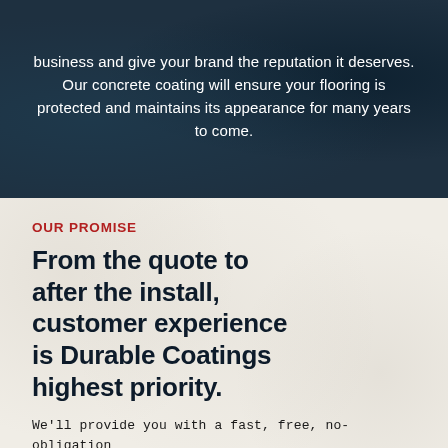business and give your brand the reputation it deserves. Our concrete coating will ensure your flooring is protected and maintains its appearance for many years to come.
OUR PROMISE
From the quote to after the install, customer experience is Durable Coatings highest priority.
We'll provide you with a fast, free, no-obligation quote and answer any questions that you may have.  We bring courteous, skilled professionalism (on time) to every job and we make sure we earn our five-star reviews.